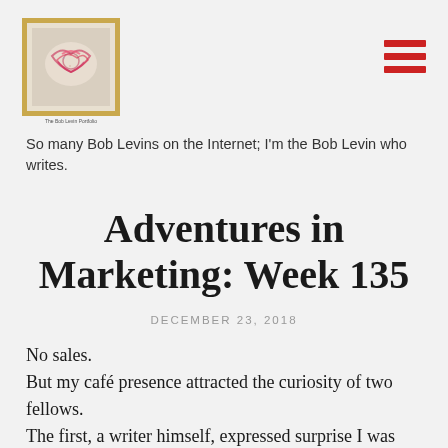[Figure (illustration): Gold-framed painting or artwork image used as a blog logo, with small caption text below reading 'The Bob Levin Portfolio']
So many Bob Levins on the Internet; I'm the Bob Levin who writes.
Adventures in Marketing: Week 135
DECEMBER 23, 2018
No sales.
But my café presence attracted the curiosity of two fellows.
The first, a writer himself, expressed surprise I was